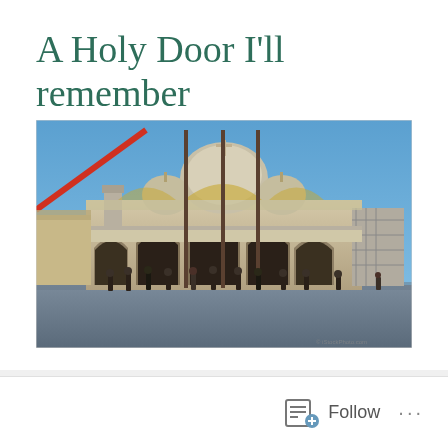A Holy Door I'll remember
[Figure (photo): Exterior photograph of St. Mark's Basilica (Basilica di San Marco) in Venice, Italy. The ornate Byzantine-style cathedral with its distinctive domes and arches is shown from the piazza level. Tall flagpoles stand in front. A red diagonal crane arm is visible on the left. Tourists walk in the piazza in front of the basilica. Clear blue sky above. Scaffolding visible on the right side of the building.]
Follow   ...